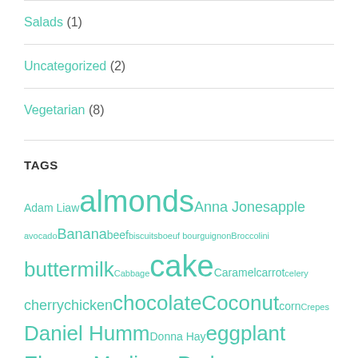Salads (1)
Uncategorized (2)
Vegetarian (8)
TAGS
Adam Liaw almonds Anna Jones apple avocado Banana beef biscuits boeuf bourguignon Broccolini buttermilk Cabbage cake Caramel carrot celery cherry chicken chocolate Coconut corn Crepes Daniel Humm Donna Hay eggplant Eleven Madison Park figs French cuisine Goat's curd Helen Goh ice cream jelly julia child Kale lime madeleines